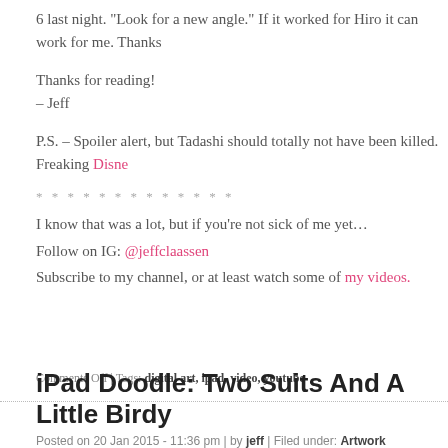6 last night. “Look for a new angle.” If it worked for Hiro it can work for me. Thanks
Thanks for reading!
– Jeff
P.S. – Spoiler alert, but Tadashi should totally not have been killed. Freaking Disne
* * * * * * * * * * * * *
I know that was a lot, but if you’re not sick of me yet…
Follow on IG: @jeffclaassen
Subscribe to my channel, or at least watch some of my videos.
Comments Off | Tags: digital art, ipad, video, youtube
iPad Doodle: Two Suits And A Little Birdy
Posted on 20 Jan 2015 - 11:36 pm | by jeff | Filed under: Artwork